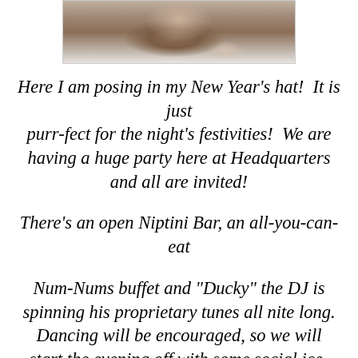[Figure (photo): Partial view of a cat (back of head/fur) wearing a New Year's hat, cropped at top of page]
Here I am posing in my New Year's hat!  It is just purr-fect for the night's festivities!  We are having a huge party here at Headquarters and all are invited!
There's an open Niptini Bar, an all-you-can-eat
Num-Nums buffet and "Ducky" the DJ is spinning his proprietary tunes all nite long. Dancing will be encouraged, so we will start the evening off with some social ice-